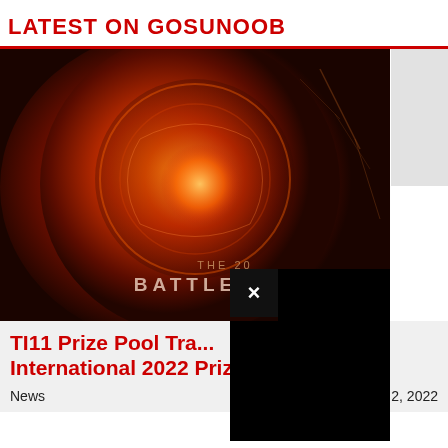LATEST ON GOSUNOOB
[Figure (screenshot): Thumbnail image of the Dota 2 Aegis of Champions trophy with fiery red/orange glow and text 'THE 20... BATTLE B...' partially obscured by a black overlay popup with a close button (×)]
TI11 Prize Pool Tra... International 2022 Prize Pool
News	September 2, 2022